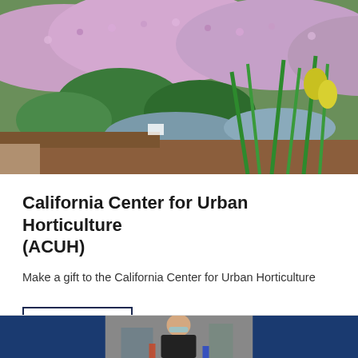[Figure (photo): Garden photo showing pink/purple flowering plants, green foliage, and a yellow flower bud against a garden bed background]
California Center for Urban Horticulture (ACUH)
Make a gift to the California Center for Urban Horticulture
VIEW
[Figure (photo): Person wearing safety glasses working in an industrial or lab setting, partial view at bottom of page on blue background]